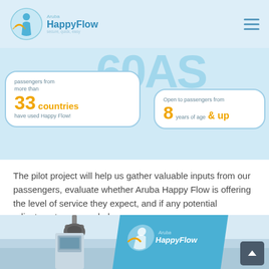Aruba HappyFlow — secure, quick, easy
[Figure (infographic): Infographic showing two statistic bubbles: 'passengers from more than 33 countries have used Happy Flow!' and 'Open to passengers from 8 years of age & up', with large decorative numbers in the background]
The pilot project will help us gather valuable inputs from our passengers, evaluate whether Aruba Happy Flow is offering the level of service they expect, and if any potential adjustments are needed.
[Figure (photo): Photo of airport kiosk/scanner equipment with a dome camera above and a blue Aruba HappyFlow branded sign panel in the foreground]